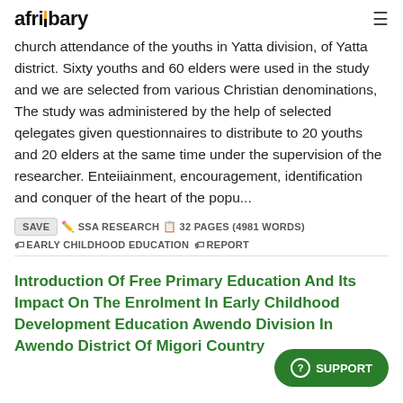afribary
church attendance of the youths in Yatta division, of Yatta district. Sixty youths and 60 elders were used in the study and we are selected from various Christian denominations, The study was administered by the help of selected qelegates given questionnaires to distribute to 20 youths and 20 elders at the same time under the supervision of the researcher. Enteiiainment, encouragement, identification and conquer of the heart of the popu...
SAVE  SSA RESEARCH  32 PAGES (4981 WORDS)  EARLY CHILDHOOD EDUCATION  REPORT
Introduction Of Free Primary Education And Its Impact On The Enrolment In Early Childhood Development Education Awendo Division In Awendo District Of Migori Country